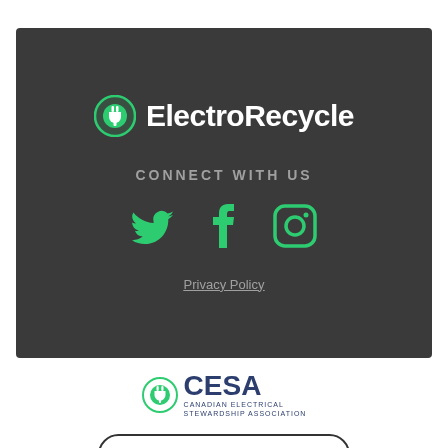[Figure (logo): ElectroRecycle logo with green plug/recycle icon and white text on dark background]
CONNECT WITH US
[Figure (illustration): Social media icons: Twitter bird, Facebook f, Instagram camera - all in green]
Privacy Policy
[Figure (logo): CESA - Canadian Electrical Stewardship Association logo with green plug icon]
Board of Directors Login